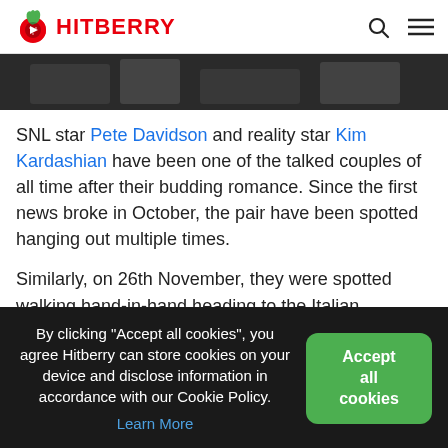HITBERRY
[Figure (photo): Partial photo strip showing a dark image at top of article]
SNL star Pete Davidson and reality star Kim Kardashian have been one of the talked couples of all time after their budding romance. Since the first news broke in October, the pair have been spotted hanging out multiple times.
Similarly, on 26th November, they were spotted walking hand-in-hand heading to the Italian restaurant Giorgio
By clicking “Accept all cookies”, you agree Hitberry can store cookies on your device and disclose information in accordance with our Cookie Policy. Learn More